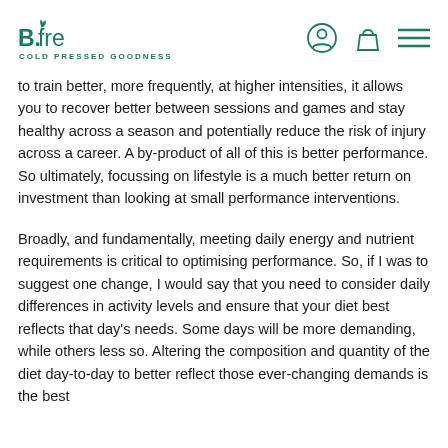B.fresh COLD PRESSED GOODNESS
to train better, more frequently, at higher intensities, it allows you to recover better between sessions and games and stay healthy across a season and potentially reduce the risk of injury across a career. A by-product of all of this is better performance. So ultimately, focussing on lifestyle is a much better return on investment than looking at small performance interventions.
Broadly, and fundamentally, meeting daily energy and nutrient requirements is critical to optimising performance. So, if I was to suggest one change, I would say that you need to consider daily differences in activity levels and ensure that your diet best reflects that day's needs. Some days will be more demanding, while others less so. Altering the composition and quantity of the diet day-to-day to better reflect those ever-changing demands is the best